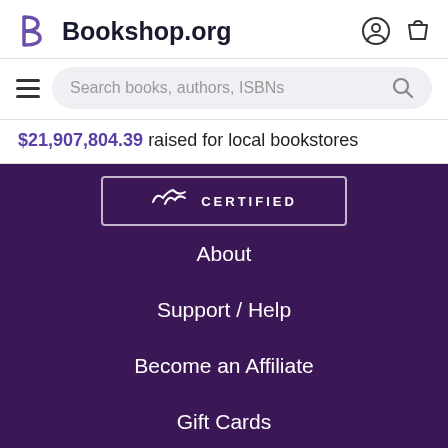Bookshop.org
Search books, authors, ISBNs
$21,907,804.39 raised for local bookstores
[Figure (screenshot): CERTIFIED banner in dark purple box with white border]
About
Support / Help
Become an Affiliate
Gift Cards
[Figure (illustration): Book advertisement for 'The House of Fortune - A Novel' by Jessie Burton, with pink/orange gradient background and silhouette figures on left and right]